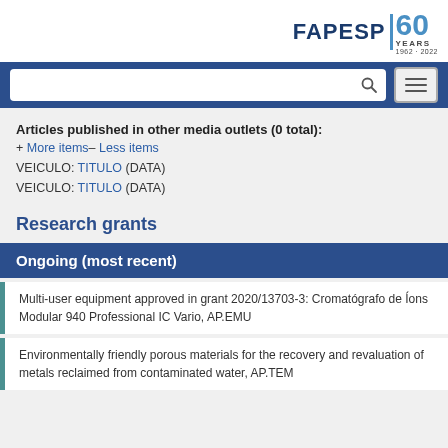[Figure (logo): FAPESP 60 Years 1962-2022 logo]
[Figure (screenshot): Search bar with magnifying glass icon and hamburger menu button on dark blue navigation bar]
Articles published in other media outlets (0 total):
+ More items– Less items
VEICULO: TITULO (DATA)
VEICULO: TITULO (DATA)
Research grants
Ongoing (most recent)
Multi-user equipment approved in grant 2020/13703-3: Cromatógrafo de Íons Modular 940 Professional IC Vario, AP.EMU
Environmentally friendly porous materials for the recovery and revaluation of metals reclaimed from contaminated water, AP.TEM